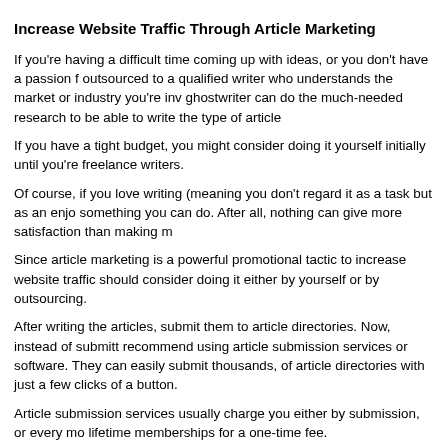Increase Website Traffic Through Article Marketing
If you're having a difficult time coming up with ideas, or you don't have a passion f... outsourced to a qualified writer who understands the market or industry you're inv... ghostwriter can do the much-needed research to be able to write the type of article...
If you have a tight budget, you might consider doing it yourself initially until you're... freelance writers.
Of course, if you love writing (meaning you don't regard it as a task but as an enjo... something you can do. After all, nothing can give more satisfaction than making m...
Since article marketing is a powerful promotional tactic to increase website traffic... should consider doing it either by yourself or by outsourcing.
After writing the articles, submit them to article directories. Now, instead of submitt... recommend using article submission services or software. They can easily submit... thousands, of article directories with just a few clicks of a button.
Article submission services usually charge you either by submission, or every mo... lifetime memberships for a one-time fee.
Using article submission services or software can be cheaper than hiring someone... the disadvantage is that you're not sure if they're only submitting to sites that are r...
In case they submit to “not-so-good neighborhoods,” then getting a lot of backlinks... may even prove to be harmful in the eyes of the search engine because getting th... send a red flag.
A great alternative is to simply gather a quality list of the most reputable, high page... student or part-time worker to do the article submissions to these high quality sites...